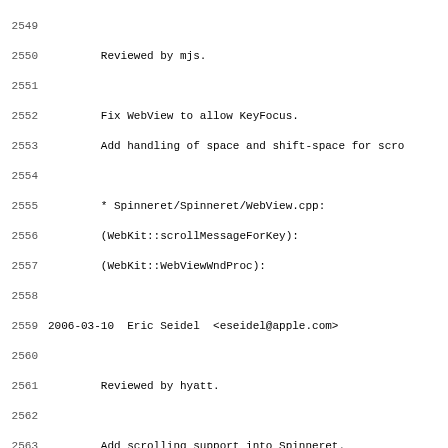Code changelog log entries from line 2549 to 2581, showing git log entries for Spinneret/WebKit changes by Eric Seidel and others, reviewed by mjs and hyatt.